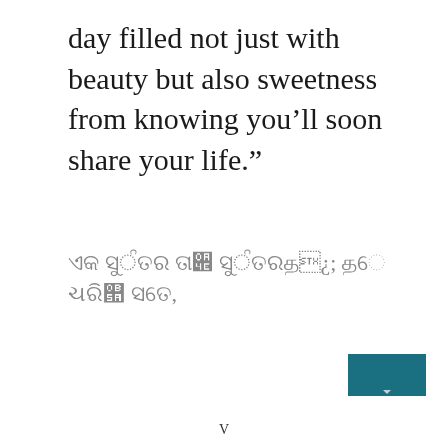day filled not just with beauty but also sweetness from knowing you’ll soon share your life.”
ਏਕ ਸੁੰਦਰ ਦਿਨ ਦੀ ਸੁੰਦਰਤਾ ਤੇ ਭਰਿਆ ਹੋਵੇ,
[Figure (other): Small teal/dark cyan rectangular button or navigation element in bottom right corner]
V